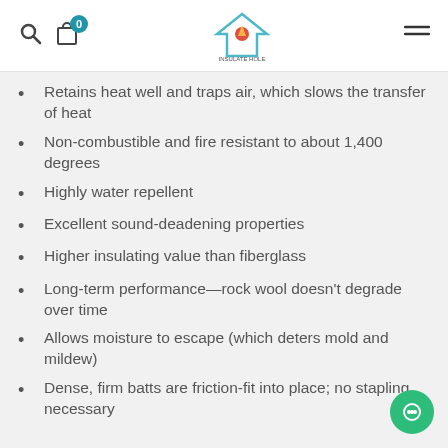Navigation header with search, cart (0), logo, and menu icons
Retains heat well and traps air, which slows the transfer of heat
Non-combustible and fire resistant to about 1,400 degrees
Highly water repellent
Excellent sound-deadening properties
Higher insulating value than fiberglass
Long-term performance—rock wool doesn't degrade over time
Allows moisture to escape (which deters mold and mildew)
Dense, firm batts are friction-fit into place; no stapling necessary